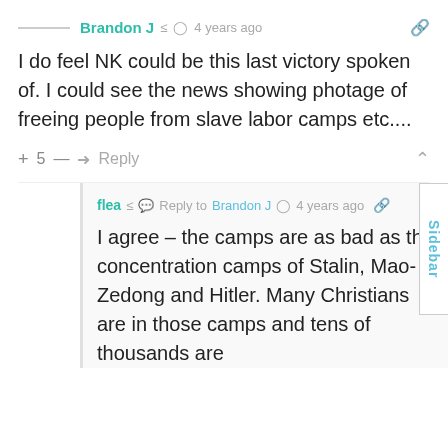Brandon J  4 years ago
I do feel NK could be this last victory spoken of. I could see the news showing photage of freeing people from slave labor camps etc....
+ 5 —  Reply
flea  Reply to Brandon J  4 years ago
I agree – the camps are as bad as the concentration camps of Stalin, Mao-Zedong and Hitler. Many Christians are in those camps and tens of thousands are